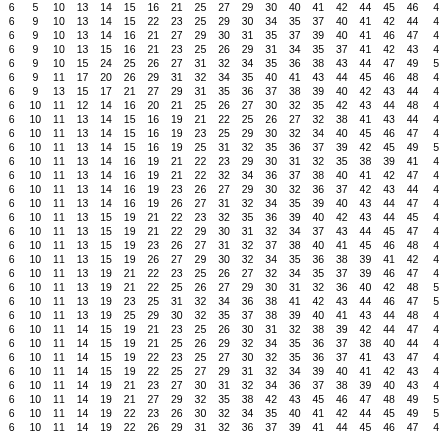| 6 | 5 | 10 | 13 | 14 | 15 | 16 | 21 | 25 | 27 | 29 | 30 | 40 | 41 | 42 | 44 | 45 | 46 | 4 |
| 6 | 9 | 10 | 13 | 14 | 15 | 22 | 23 | 25 | 29 | 30 | 34 | 35 | 37 | 40 | 41 | 42 | 44 | 4 |
| 6 | 9 | 10 | 13 | 14 | 16 | 21 | 27 | 29 | 30 | 31 | 35 | 37 | 39 | 40 | 41 | 46 | 47 | 4 |
| 6 | 9 | 10 | 13 | 15 | 16 | 21 | 23 | 25 | 26 | 29 | 31 | 34 | 35 | 37 | 41 | 42 | 43 | 4 |
| 6 | 9 | 10 | 15 | 24 | 25 | 26 | 27 | 31 | 32 | 34 | 35 | 36 | 38 | 43 | 44 | 47 | 49 | 5 |
| 6 | 9 | 11 | 17 | 20 | 26 | 29 | 31 | 32 | 34 | 35 | 40 | 41 | 43 | 44 | 45 | 46 | 48 | 4 |
| 6 | 9 | 13 | 15 | 17 | 21 | 27 | 29 | 31 | 35 | 36 | 37 | 38 | 39 | 40 | 42 | 43 | 44 | 4 |
| 6 | 10 | 11 | 12 | 14 | 16 | 20 | 21 | 25 | 26 | 27 | 30 | 32 | 35 | 42 | 43 | 44 | 48 | 4 |
| 6 | 10 | 11 | 13 | 14 | 15 | 16 | 19 | 21 | 22 | 25 | 26 | 27 | 32 | 38 | 41 | 43 | 44 | 4 |
| 6 | 10 | 11 | 13 | 14 | 15 | 16 | 19 | 23 | 25 | 29 | 30 | 32 | 34 | 40 | 45 | 46 | 47 | 4 |
| 6 | 10 | 11 | 13 | 14 | 15 | 16 | 19 | 25 | 31 | 32 | 35 | 36 | 37 | 39 | 42 | 45 | 49 | 5 |
| 6 | 10 | 11 | 13 | 14 | 16 | 19 | 21 | 22 | 23 | 29 | 30 | 31 | 32 | 35 | 38 | 39 | 41 | 4 |
| 6 | 10 | 11 | 13 | 14 | 16 | 19 | 21 | 22 | 32 | 34 | 36 | 37 | 38 | 40 | 41 | 42 | 47 | 4 |
| 6 | 10 | 11 | 13 | 14 | 16 | 19 | 23 | 26 | 27 | 29 | 30 | 32 | 36 | 37 | 42 | 43 | 44 | 4 |
| 6 | 10 | 11 | 13 | 14 | 16 | 19 | 26 | 27 | 31 | 32 | 34 | 35 | 39 | 40 | 43 | 44 | 47 | 4 |
| 6 | 10 | 11 | 13 | 15 | 19 | 21 | 22 | 23 | 32 | 35 | 36 | 39 | 40 | 42 | 43 | 44 | 45 | 4 |
| 6 | 10 | 11 | 13 | 15 | 19 | 21 | 22 | 29 | 30 | 31 | 32 | 34 | 37 | 43 | 44 | 45 | 47 | 4 |
| 6 | 10 | 11 | 13 | 15 | 19 | 23 | 26 | 27 | 31 | 32 | 37 | 38 | 40 | 41 | 45 | 46 | 48 | 4 |
| 6 | 10 | 11 | 13 | 15 | 19 | 26 | 27 | 29 | 30 | 32 | 34 | 35 | 36 | 38 | 39 | 41 | 42 | 4 |
| 6 | 10 | 11 | 13 | 19 | 21 | 22 | 23 | 25 | 26 | 27 | 32 | 34 | 35 | 37 | 39 | 46 | 47 | 4 |
| 6 | 10 | 11 | 13 | 19 | 21 | 22 | 25 | 26 | 27 | 29 | 30 | 31 | 32 | 36 | 40 | 42 | 48 | 5 |
| 6 | 10 | 11 | 13 | 19 | 23 | 25 | 31 | 32 | 34 | 36 | 38 | 41 | 42 | 43 | 44 | 46 | 47 | 5 |
| 6 | 10 | 11 | 13 | 19 | 25 | 29 | 30 | 32 | 35 | 37 | 38 | 39 | 40 | 41 | 43 | 44 | 48 | 4 |
| 6 | 10 | 11 | 14 | 15 | 19 | 21 | 23 | 25 | 26 | 30 | 31 | 32 | 38 | 39 | 42 | 44 | 47 | 4 |
| 6 | 10 | 11 | 14 | 15 | 19 | 21 | 25 | 26 | 29 | 32 | 34 | 35 | 36 | 37 | 38 | 40 | 44 | 4 |
| 6 | 10 | 11 | 14 | 15 | 19 | 22 | 23 | 25 | 27 | 30 | 32 | 35 | 36 | 37 | 41 | 43 | 47 | 4 |
| 6 | 10 | 11 | 14 | 15 | 19 | 22 | 25 | 27 | 29 | 31 | 32 | 34 | 39 | 40 | 41 | 42 | 43 | 4 |
| 6 | 10 | 11 | 14 | 19 | 21 | 23 | 27 | 30 | 31 | 32 | 34 | 36 | 37 | 38 | 39 | 40 | 43 | 4 |
| 6 | 10 | 11 | 14 | 19 | 21 | 27 | 29 | 32 | 35 | 38 | 42 | 43 | 45 | 46 | 47 | 48 | 49 | 5 |
| 6 | 10 | 11 | 14 | 19 | 22 | 23 | 26 | 30 | 32 | 34 | 35 | 40 | 41 | 42 | 44 | 45 | 49 | 5 |
| 6 | 10 | 11 | 14 | 19 | 22 | 26 | 29 | 31 | 32 | 36 | 37 | 39 | 41 | 44 | 45 | 46 | 47 | 4 |